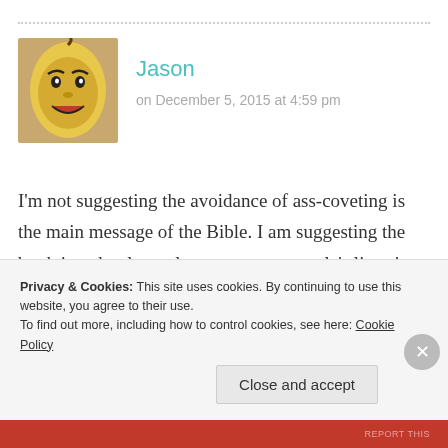Jason
on December 5, 2015 at 4:59 pm
[Figure (photo): Avatar image of a banana with a cartoon face drawn on it]
I'm not suggesting the avoidance of ass-coveting is the main message of the Bible. I am suggesting the book is rather less relevant to most people's lives in 2015. That's not to say it doesn't have some worthy ideas and useful moral lessons. It just needs a bit of an update and less emphasis on the barbarity, misogyny and weird arbitrary
Privacy & Cookies: This site uses cookies. By continuing to use this website, you agree to their use. To find out more, including how to control cookies, see here: Cookie Policy
Close and accept